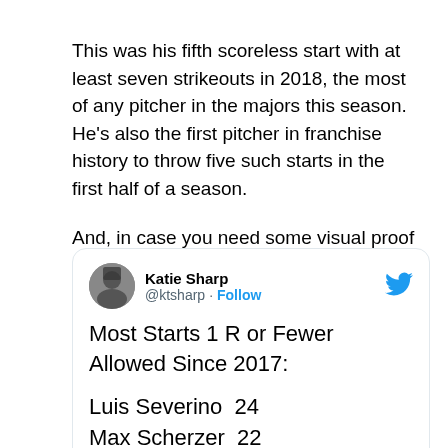This was his fifth scoreless start with at least seven strikeouts in 2018, the most of any pitcher in the majors this season. He's also the first pitcher in franchise history to throw five such starts in the first half of a season.
And, in case you need some visual proof that Severino belongs on the list of baseball's most elite pitchers, our favorite stat ....
[Figure (screenshot): Embedded tweet from Katie Sharp (@ktsharp) with Twitter follow button and bird logo. Tweet content reads: 'Most Starts 1 R or Fewer Allowed Since 2017: Luis Severino 24, Max Scherzer 22']